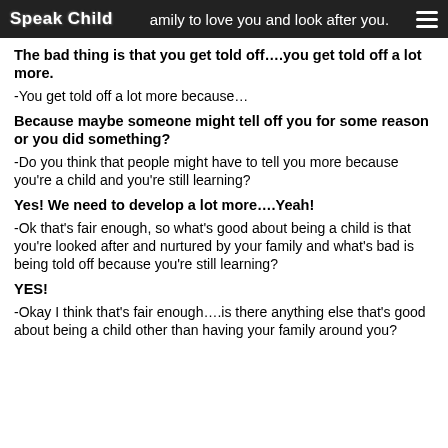Speak Child — family to love you and look after you.
The bad thing is that you get told off….you get told off a lot more.
-You get told off a lot more because…
Because maybe someone might tell off you for some reason or you did something?
-Do you think that people might have to tell you more because you're a child and you're still learning?
Yes! We need to develop a lot more….Yeah!
-Ok that's fair enough, so what's good about being a child is that you're looked after and nurtured by your family and what's bad is being told off because you're still learning?
YES!
-Okay I think that's fair enough….is there anything else that's good about being a child other than having your family around you?